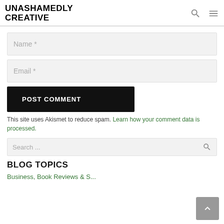UNASHAMEDLY CREATIVE
Name *
Email *
POST COMMENT
This site uses Akismet to reduce spam. Learn how your comment data is processed.
Search ...
BLOG TOPICS
Business, Book Reviews & S...